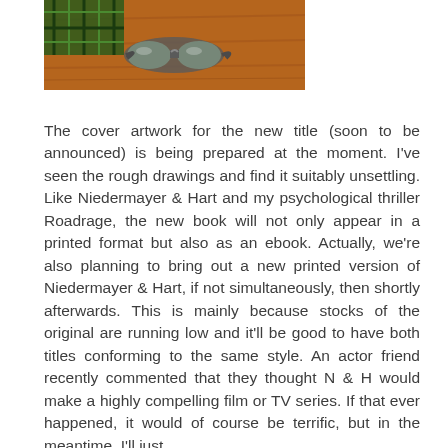[Figure (photo): Photograph showing goggles or glasses resting on a wooden surface, with a partial view of a plaid fabric item in the upper left corner.]
The cover artwork for the new title (soon to be announced) is being prepared at the moment. I've seen the rough drawings and find it suitably unsettling. Like Niedermayer & Hart and my psychological thriller Roadrage, the new book will not only appear in a printed format but also as an ebook. Actually, we're also planning to bring out a new printed version of Niedermayer & Hart, if not simultaneously, then shortly afterwards. This is mainly because stocks of the original are running low and it'll be good to have both titles conforming to the same style. An actor friend recently commented that they thought N & H would make a highly compelling film or TV series. If that ever happened, it would of course be terrific, but in the meantime, I'll just